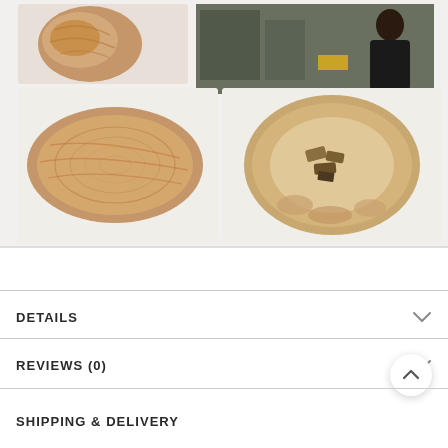[Figure (photo): Product gallery showing wooden bowls/plates: top row has a wooden ball and a person in a workshop; bottom row has two oval wooden plates/bowls, one showing the bottom with hardware]
DETAILS
REVIEWS (0)
SHIPPING & DELIVERY